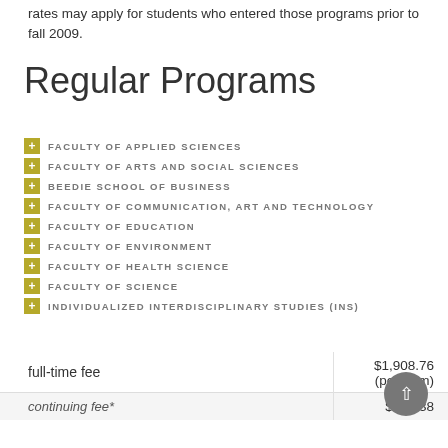rates may apply for students who entered those programs prior to fall 2009.
Regular Programs
FACULTY OF APPLIED SCIENCES
FACULTY OF ARTS AND SOCIAL SCIENCES
BEEDIE SCHOOL OF BUSINESS
FACULTY OF COMMUNICATION, ART AND TECHNOLOGY
FACULTY OF EDUCATION
FACULTY OF ENVIRONMENT
FACULTY OF HEALTH SCIENCE
FACULTY OF SCIENCE
INDIVIDUALIZED INTERDISCIPLINARY STUDIES (INS)
|  |  |
| --- | --- |
| full-time fee | $1,908.76
(per term) |
| continuing fee* | $954.38 |